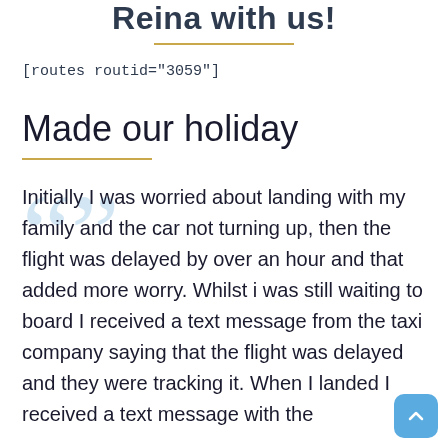Reina with us!
[routes routid="3059"]
Made our holiday
Initially I was worried about landing with my family and the car not turning up, then the flight was delayed by over an hour and that added more worry. Whilst i was still waiting to board I received a text message from the taxi company saying that the flight was delayed and they were tracking it. When I landed I received a text message with the